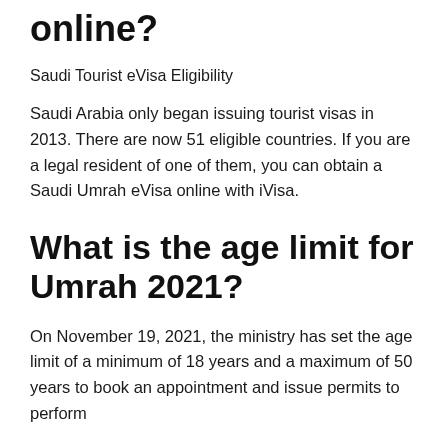online?
Saudi Tourist eVisa Eligibility
Saudi Arabia only began issuing tourist visas in 2013. There are now 51 eligible countries. If you are a legal resident of one of them, you can obtain a Saudi Umrah eVisa online with iVisa.
What is the age limit for Umrah 2021?
On November 19, 2021, the ministry has set the age limit of a minimum of 18 years and a maximum of 50 years to book an appointment and issue permits to perform